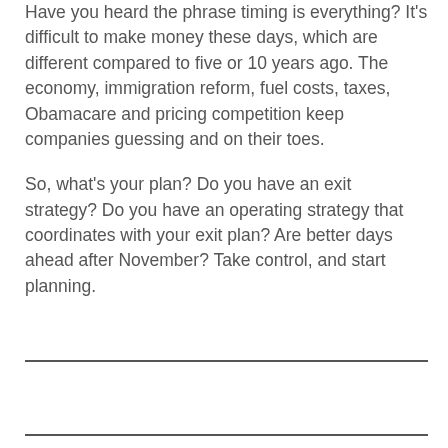Have you heard the phrase timing is everything? It's difficult to make money these days, which are different compared to five or 10 years ago. The economy, immigration reform, fuel costs, taxes, Obamacare and pricing competition keep companies guessing and on their toes.
So, what's your plan? Do you have an exit strategy? Do you have an operating strategy that coordinates with your exit plan? Are better days ahead after November? Take control, and start planning.